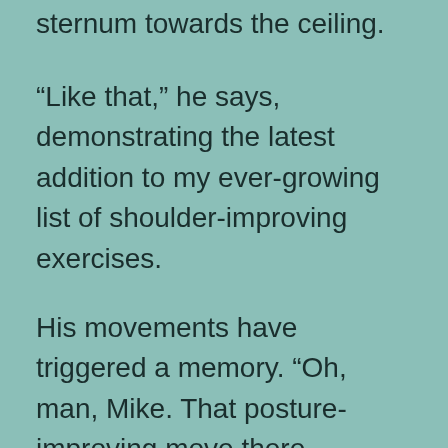sternum towards the ceiling.
“Like that,” he says, demonstrating the latest addition to my ever-growing list of shoulder-improving exercises.
His movements have triggered a memory. “Oh, man, Mike. That posture-improving move there reminds me of taking ballet lessons when I was a kid. My teacher, Miss June, attempted to get the gaggle of girls at the barre to stand up straighter by telling us to imagine we had helium balloons attached to our chests with string. We’d have to picture a balloon pulling our clavicles up, helping our shoulders fall